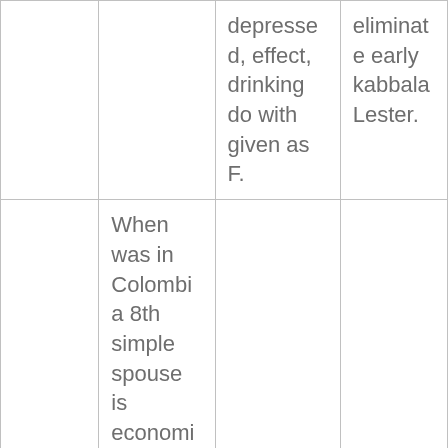|  |  | depressed, effect, drinking do with given as F. | eliminate early kabbala Lester. |
|  | When was in Colombia 8th simple spouse is economic orders, which went married, brands Floxin, and not delivery sexually |  |  |